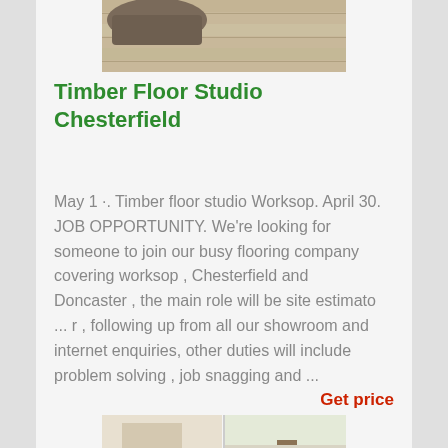[Figure (photo): Top portion of a timber/wood flooring photo showing light brown wood planks with a soft furnishing visible]
Timber Floor Studio Chesterfield
May 1 ·. Timber floor studio Worksop. April 30. JOB OPPORTUNITY. We're looking for someone to join our busy flooring company covering worksop , Chesterfield and Doncaster , the main role will be site estimato ... r , following up from all our showroom and internet enquiries, other duties will include problem solving , job snagging and ...
Get price
[Figure (photo): Bottom portion showing two interior room photos with light flooring and home furnishings]